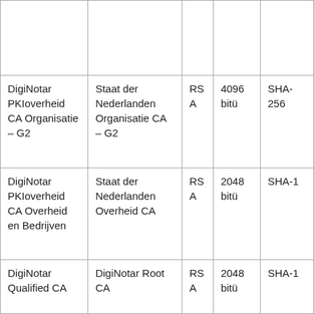|  |  |  |  |  |
| DigiNotar PKIoverheid CA Organisatie – G2 | Staat der Nederlanden Organisatie CA – G2 | RSA | 4096 bitü | SHA-256 |
| DigiNotar PKIoverheid CA Overheid en Bedrijven | Staat der Nederlanden Overheid CA | RSA | 2048 bitü | SHA-1 |
| DigiNotar Qualified CA | DigiNotar Root CA | RSA | 2048 bitü | SHA-1 |